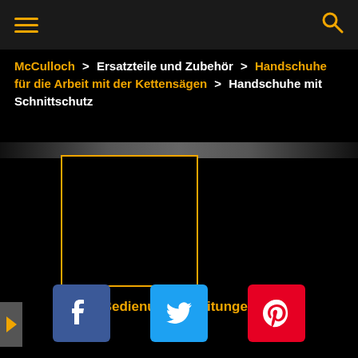McCulloch navigation header with hamburger menu and search icon
McCulloch > Ersatzteile und Zubehör > Handschuhe für die Arbeit mit der Kettensägen > Handschuhe mit Schnittschutz
[Figure (photo): Dark horizontal band above product image area]
[Figure (photo): Product thumbnail image box with yellow border on black background]
Bedienungsanleitungen
[Figure (infographic): Social sharing icons: Facebook (blue), Twitter (light blue), Pinterest (red)]